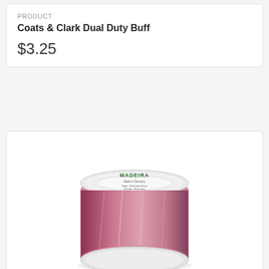PRODUCT
Coats & Clark Dual Duty Buff
$3.25
[Figure (photo): A spool of Madeira Potpourri Hyacinth Rayon Embroidery Thread, pink/mauve color, with white top label showing MADEIRA branding]
PRODUCT
Madeira Potpourri Hyacinth Rayon Embroidery Thread 40wt 220yds
$4.50